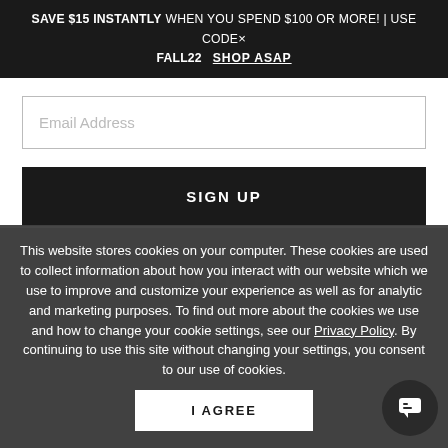SAVE $15 INSTANTLY WHEN YOU SPEND $100 OR MORE! | USE CODE× FALL22   SHOP ASAP
Email Address
SIGN UP
HELP
EXPLORE
WHO WE ARE
This website stores cookies on your computer. These cookies are used to collect information about how you interact with our website which we use to improve and customize your experience as well as for analytic and marketing purposes. To find out more about the cookies we use and how to change your cookie settings, see our Privacy Policy. By continuing to use this site without changing your settings, you consent to our use of cookies.
I AGREE